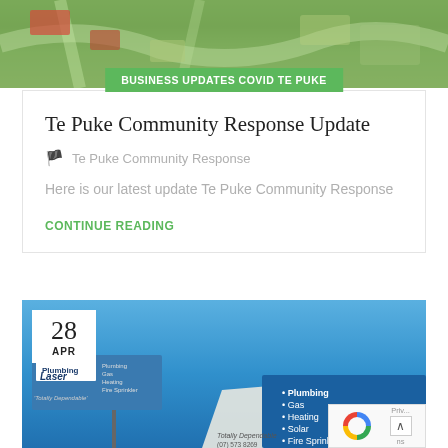[Figure (photo): Aerial view of Te Puke township showing roads, green fields and rooftops from above]
BUSINESS UPDATES COVID TE PUKE
Te Puke Community Response Update
Te Puke Community Response
Here is our latest update Te Puke Community Response
CONTINUE READING
[Figure (photo): Photo of Laser Plumbing storefront with blue signage showing services: Plumbing, Gas, Heating, Solar, Fire Sprinklers. Date badge shows 28 APR.]